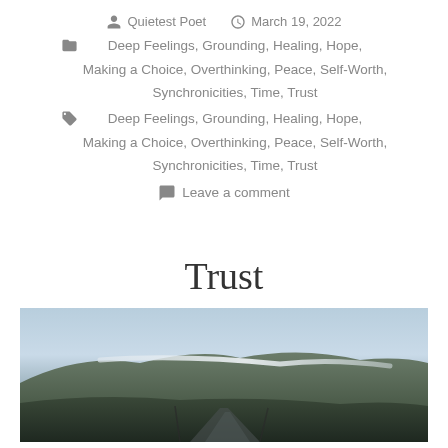Quietest Poet   March 19, 2022
Deep Feelings, Grounding, Healing, Hope, Making a Choice, Overthinking, Peace, Self-Worth, Synchronicities, Time, Trust
Deep Feelings, Grounding, Healing, Hope, Making a Choice, Overthinking, Peace, Self-Worth, Synchronicities, Time, Trust
Leave a comment
Trust
[Figure (photo): Landscape photo showing mountains, sky and a road, taken from a low angle. Muted blue-grey sky with dark hills and a road visible in the lower portion.]